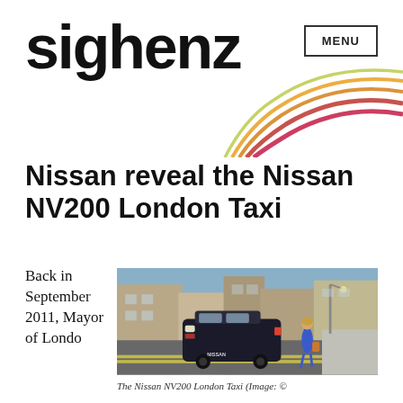sighenz
Nissan reveal the Nissan NV200 London Taxi
Back in September 2011, Mayor of Londo
[Figure (photo): The Nissan NV200 London Taxi on a city street, with a woman walking nearby. Urban background with classic London buildings.]
The Nissan NV200 London Taxi (Image: ©